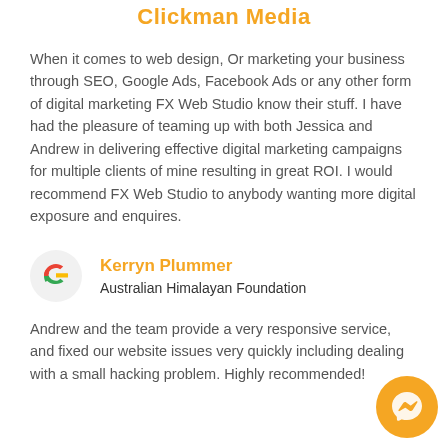Clickman Media
When it comes to web design, Or marketing your business through SEO, Google Ads, Facebook Ads or any other form of digital marketing FX Web Studio know their stuff. I have had the pleasure of teaming up with both Jessica and Andrew in delivering effective digital marketing campaigns for multiple clients of mine resulting in great ROI. I would recommend FX Web Studio to anybody wanting more digital exposure and enquires.
[Figure (logo): Google 'G' logo in multicolor (red, blue, yellow, green)]
Kerryn Plummer
Australian Himalayan Foundation
Andrew and the team provide a very responsive service, and fixed our website issues very quickly including dealing with a small hacking problem. Highly recommended!
[Figure (illustration): Orange circular Messenger chat button in bottom right corner]